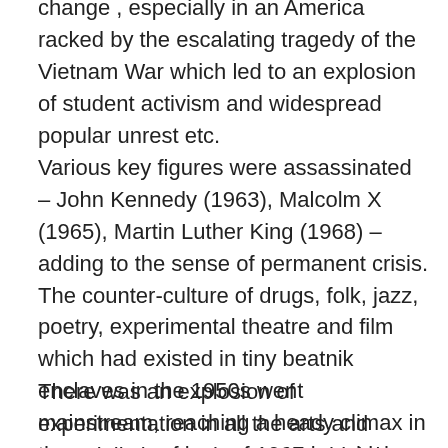change , especially in an America racked by the escalating tragedy of the Vietnam War which led to an explosion of student activism and widespread popular unrest etc.
Various key figures were assassinated – John Kennedy (1963), Malcolm X (1965), Martin Luther King (1968) – adding to the sense of permanent crisis. The counter-culture of drugs, folk, jazz, poetry, experimental theatre and film which had existed in tiny beatnik enclaves in the 1950s went mainstream, reaching a heady climax in the summer of love of 1967 by which time free love, LSD, flower power and all the rest of it were widely publicised in music, film, newspapers, magazines, TV and on the streets.
There was an explosion of experimentation in all the arts and especially in popular music, which is more enduring and accessible than any other art form – the songs of the